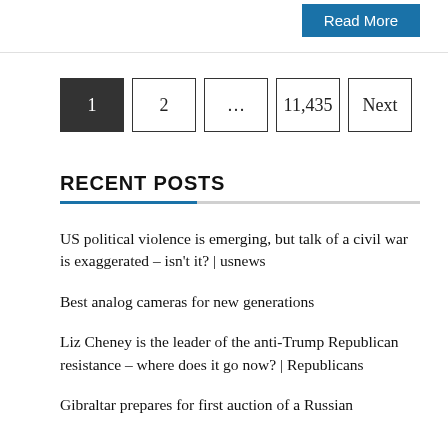Read More
1  2  ...  11,435  Next
RECENT POSTS
US political violence is emerging, but talk of a civil war is exaggerated – isn't it? | usnews
Best analog cameras for new generations
Liz Cheney is the leader of the anti-Trump Republican resistance – where does it go now? | Republicans
Gibraltar prepares for first auction of a Russian